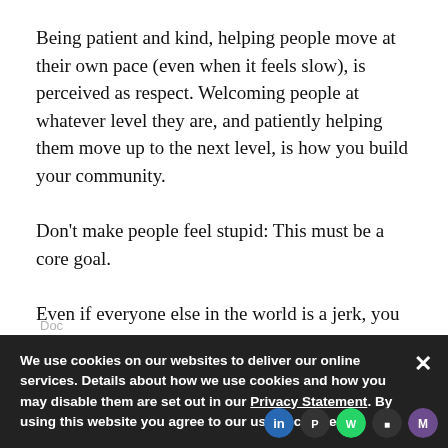Being patient and kind, helping people move at their own pace (even when it feels slow), is perceived as respect. Welcoming people at whatever level they are, and patiently helping them move up to the next level, is how you build your community.
Don't make people feel stupid: This must be a core goal.
Even if everyone else in the world is a jerk, you don't have to be.
We use cookies on our websites to deliver our online services. Details about how we use cookies and how you may disable them are set out in our Privacy Statement. By using this website you agree to our use of cookies.